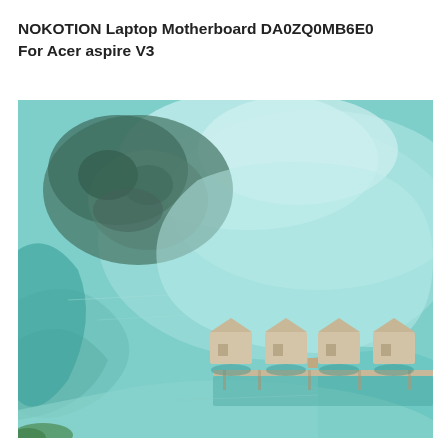NOKOTION Laptop Motherboard DA0ZQ0MB6E0 For Acer aspire V3
[Figure (photo): Aerial view of a tropical turquoise lagoon with overwater bungalows on a pier extending from the right side. The water is shallow and crystal clear with sandy bottom visible, and a dark coral or vegetation patch in the upper left area.]